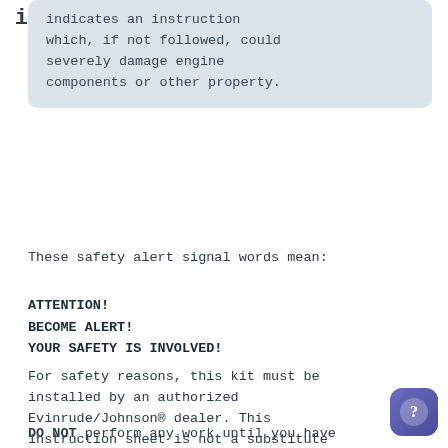indicates an instruction which, if not followed, could severely damage engine components or other property.
These safety alert signal words mean:
ATTENTION!
BECOME ALERT!
YOUR SAFETY IS INVOLVED!
For safety reasons, this kit must be installed by an authorized Evinrude/Johnson® dealer. This instruction sheet is not a substitute for work experience. Additional helpful information may be found in other service literature.
DO NOT perform any work until you have